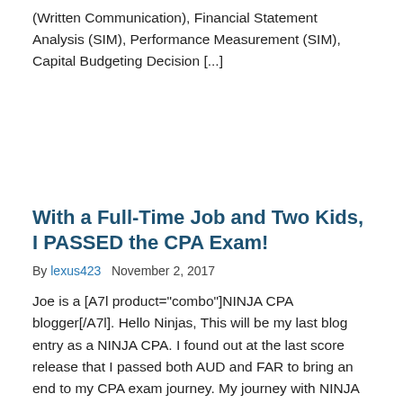(Written Communication), Financial Statement Analysis (SIM), Performance Measurement (SIM), Capital Budgeting Decision [...]
With a Full-Time Job and Two Kids, I PASSED the CPA Exam!
By lexus423   November 2, 2017
Joe is a [A7l product="combo"]NINJA CPA blogger[/A7l]. Hello Ninjas, This will be my last blog entry as a NINJA CPA. I found out at the last score release that I passed both AUD and FAR to bring an end to my CPA exam journey. My journey with NINJA began about 4 years ago. After not [...]